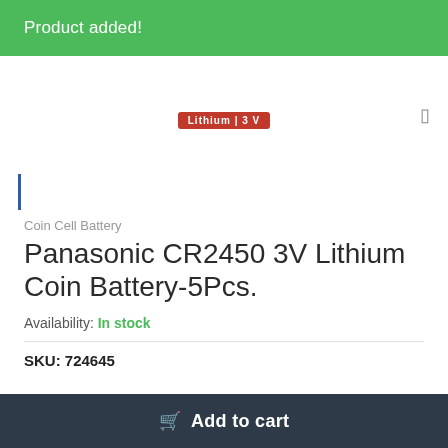Product added!
[Figure (photo): Partial product image showing a red battery label reading 'Lithium | 3 V']
Coin Cell Battery
Panasonic CR2450 3V Lithium Coin Battery-5Pcs.
Availability: In stock
SKU: 724645
Add to cart